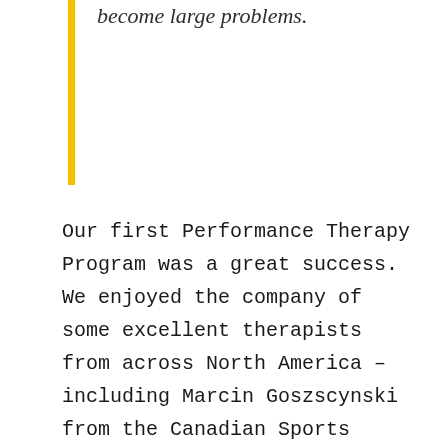become large problems.
Our first Performance Therapy Program was a great success. We enjoyed the company of some excellent therapists from across North America – including Marcin Goszscynski from the Canadian Sports Institute in Calgary, Dr Jason Ross from Grand Rapids, Michigan, and Dr Chris Klachan from Toronto, Canada. However, it is important to highlight that this